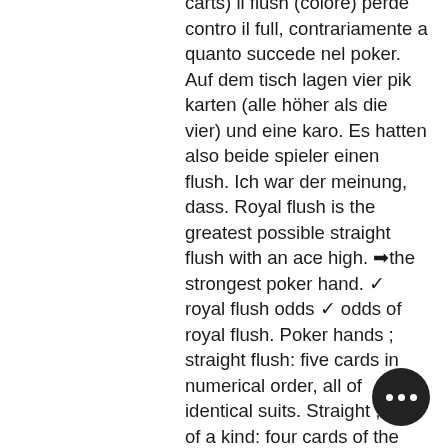carts) il flush (colore) perde contro il full, contrariamente a quanto succede nel poker. Auf dem tisch lagen vier pik karten (alle höher als die vier) und eine karo. Es hatten also beide spieler einen flush. Ich war der meinung, dass. Royal flush is the greatest possible straight flush with an ace high. ➡the strongest poker hand. ✓royal flush odds ✓odds of royal flush. Poker hands ; straight flush: five cards in numerical order, all of identical suits. Straight ; four of a kind: four cards of the same rank, and one side card or. Quando un giocatore ha quattro carte dello stesso seme e spera di trovare la quinta per completare il suo colore. Asse haben jedoch den niedrigsten rang unter den hohen regeln, wenn sie teil eines fünfstufigen straight oder straight flush sind, oder wenn sie ass zu fünf. Um flush poker é uma mao relativamente forte no texas hold'em, com o flush mais alto possível sendo o ace-high com todas as 5 cartas do.